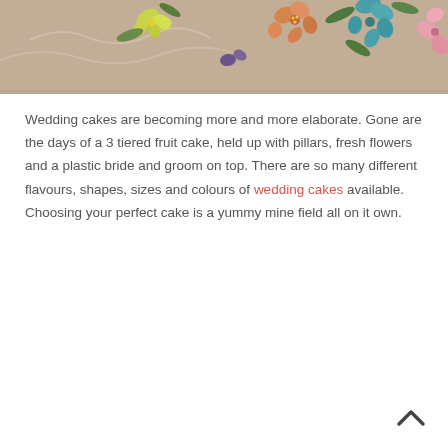[Figure (photo): Top portion of a wedding cake photo showing colorful sugar flowers (yellow, orange, teal/blue, pink) on a beige/cream fondant background]
Wedding cakes are becoming more and more elaborate. Gone are the days of a 3 tiered fruit cake, held up with pillars, fresh flowers and a plastic bride and groom on top. There are so many different flavours, shapes, sizes and colours of wedding cakes available. Choosing your perfect cake is a yummy mine field all on it own.